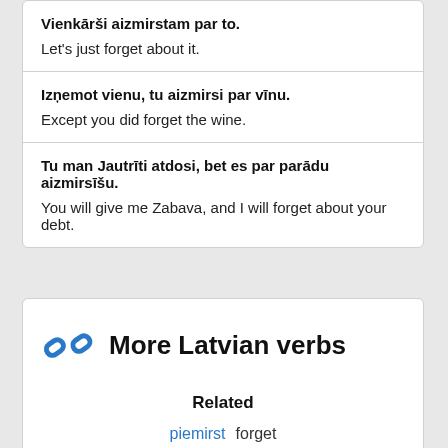Vienkārši aizmirstam par to.
Let's just forget about it.
Izņemot vienu, tu aizmirsi par vīnu.
Except you did forget the wine.
Tu man Jautrīti atdosi, bet es par parādu aizmirsīšu.
You will give me Zabava, and I will forget about your debt.
More Latvian verbs
Related
piemirst   forget